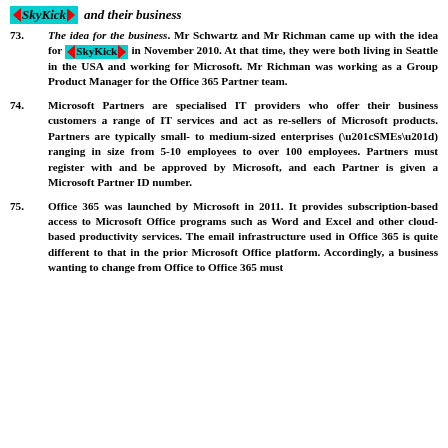SkyKick and their business
73. The idea for the business. Mr Schwartz and Mr Richman came up with the idea for SkyKick in November 2010. At that time, they were both living in Seattle in the USA and working for Microsoft. Mr Richman was working as a Group Product Manager for the Office 365 Partner team.
74. Microsoft Partners are specialised IT providers who offer their business customers a range of IT services and act as re-sellers of Microsoft products. Partners are typically small- to medium-sized enterprises (“SMEs”) ranging in size from 5-10 employees to over 100 employees. Partners must register with and be approved by Microsoft, and each Partner is given a Microsoft Partner ID number.
75. Office 365 was launched by Microsoft in 2011. It provides subscription-based access to Microsoft Office programs such as Word and Excel and other cloud-based productivity services. The email infrastructure used in Office 365 is quite different to that in the prior Microsoft Office platform. Accordingly, a business wanting to change from Office to Office 365 must